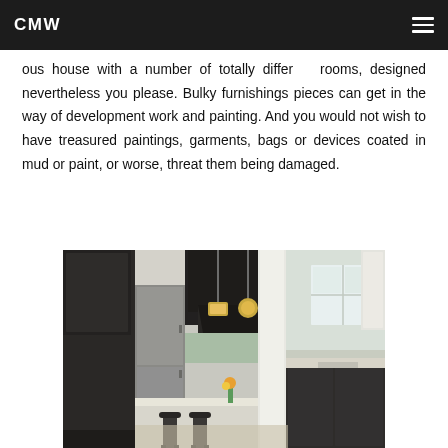CMW
ous house with a number of totally different rooms, designed nevertheless you please. Bulky furnishings pieces can get in the way of development work and painting. And you would not wish to have treasured paintings, garments, bags or devices coated in mud or paint, or worse, threat them being damaged.
[Figure (photo): Interior kitchen photo showing dark cabinets, white columns/pillars, a kitchen island with bar stools, stainless steel refrigerator, pendant lights, and a bright window area with white upper cabinets.]